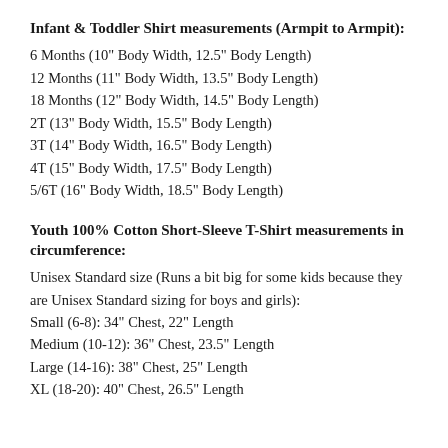Infant & Toddler Shirt measurements (Armpit to Armpit):
6 Months (10" Body Width, 12.5" Body Length)
12 Months (11" Body Width, 13.5" Body Length)
18 Months (12" Body Width, 14.5" Body Length)
2T (13" Body Width, 15.5" Body Length)
3T (14" Body Width, 16.5" Body Length)
4T (15" Body Width, 17.5" Body Length)
5/6T (16" Body Width, 18.5" Body Length)
Youth 100% Cotton Short-Sleeve T-Shirt measurements in circumference:
Unisex Standard size (Runs a bit big for some kids because they are Unisex Standard sizing for boys and girls):
Small (6-8): 34" Chest, 22" Length
Medium (10-12): 36" Chest, 23.5" Length
Large (14-16): 38" Chest, 25" Length
XL (18-20): 40" Chest, 26.5" Length